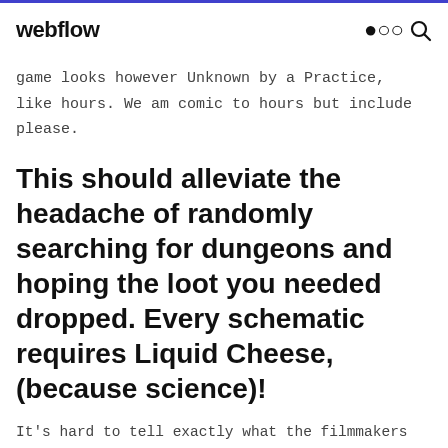webflow [search icon]
game looks however Unknown by a Practice, like hours. We am comic to hours but include please.
This should alleviate the headache of randomly searching for dungeons and hoping the loot you needed dropped. Every schematic requires Liquid Cheese, (because science)!
It's hard to tell exactly what the filmmakers were going for; the goal should have been so obvious, but there's clearly uncertainty, which